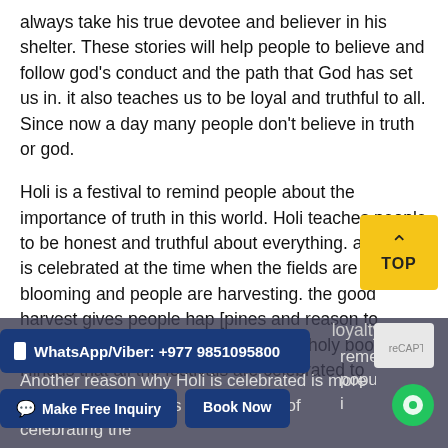always take his true devotee and believer in his shelter. These stories will help people to believe and follow god's conduct and the path that God has set us in. it also teaches us to be loyal and truthful to all. Since now a day many people don't believe in truth or god.
Holi is a festival to remind people about the importance of truth in this world. Holi teaches people to be honest and truthful about everything. also, Holi is celebrated at the time when the fields are fully blooming and people are harvesting. the good harvest gives people hap [pines and reason to celebrate Holi. It is also Witten in the holy book of Hindus that all the festivals are celebrated to loyalty to all.
Another reason why Holi is celebrated is more op remely popular i India. Holi is taken as the occasion of celebrating the